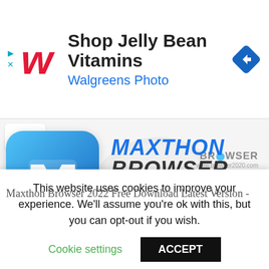[Figure (infographic): Walgreens advertisement banner: Shop Jelly Bean Vitamins, Walgreens Photo, with Walgreens W logo and blue diamond arrow icon]
[Figure (screenshot): Maxthon Browser 2022 Latest Version promotional image with app icon (blue rounded square with white M) and text MAXTHON BROWSER 2022 LATEST VERSION, with browser2020.com watermark]
Maxthon Browser 2022 Free Download Latest Version -
This website uses cookies to improve your experience. We'll assume you're ok with this, but you can opt-out if you wish.
Cookie settings
ACCEPT